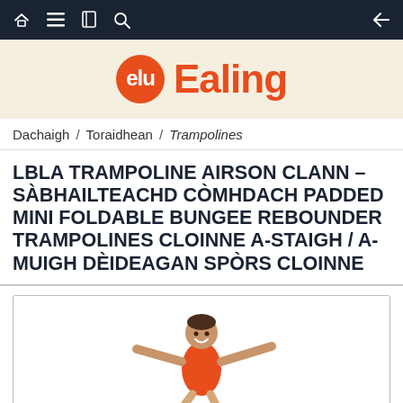Navigation bar with home, menu, book, search icons and back arrow
[Figure (logo): Ealing brand logo: orange circle with 'elu' smiley icon and orange bold text 'Ealing' on cream background]
Dachaigh / Toraidhean / Trampolines
LBLA TRAMPOLINE AIRSON CLANN – SÀBHAILTEACHD CÒMHDACH PADDED MINI FOLDABLE BUNGEE REBOUNDER TRAMPOLINES CLOINNE A-STAIGH / A-MUIGH DÈIDEAGAN SPÒRS CLOINNE
[Figure (photo): A young boy in an orange t-shirt jumping with arms outstretched, on a white background, inside a bordered product image box]